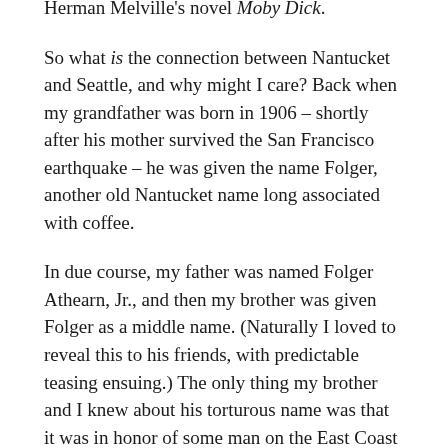Herman Melville's novel Moby Dick.
So what is the connection between Nantucket and Seattle, and why might I care? Back when my grandfather was born in 1906 – shortly after his mother survived the San Francisco earthquake – he was given the name Folger, another old Nantucket name long associated with coffee.
In due course, my father was named Folger Athearn, Jr., and then my brother was given Folger as a middle name. (Naturally I loved to reveal this to his friends, with predictable teasing ensuing.) The only thing my brother and I knew about his torturous name was that it was in honor of some man on the East Coast who had tracked down my great-grandfather in California to bestow a legacy.
Early in my genealogical work, I discovered that Folgers Coffee was founded during the California Gold Rush by a